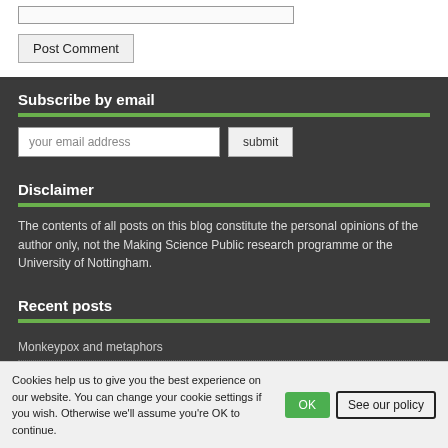[input field]
Post Comment
Subscribe by email
your email address
submit
Disclaimer
The contents of all posts on this blog constitute the personal opinions of the author only, not the Making Science Public research programme or the University of Nottingham.
Recent posts
Monkeypox and metaphors
Poxpics: The visual discourse of monkeypox
Invasion of the covid metaphor...
Cookies help us to give you the best experience on our website. You can change your cookie settings if you wish. Otherwise we'll assume you're OK to continue. OK  See our policy